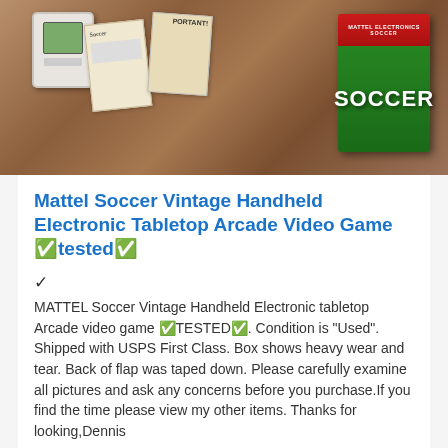[Figure (photo): Photo of a Mattel Soccer vintage handheld electronic game with box on a granite countertop, showing the green Soccer box with red top stripe, a white handheld device, and some cards/manuals.]
Mattel Soccer Vintage Handheld Electronic Tabletop Arcade Video Game ✅tested✅
✔
MATTEL Soccer Vintage Handheld Electronic tabletop Arcade video game ✅TESTED✅. Condition is "Used". Shipped with USPS First Class. Box shows heavy wear and tear. Back of flap was taped down. Please carefully examine all pictures and ask any concerns before you purchase.If you find the time please view my other items. Thanks for looking,Dennis
✔  Item location: Sicklerville, US